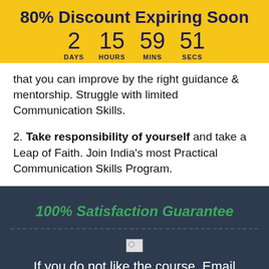80% Discount Expiring Soon
2 DAYS  15 HOURS  59 MINS  51 SECS
that you can improve by the right guidance & mentorship. Struggle with limited Communication Skills.
2. Take responsibility of yourself and take a Leap of Faith. Join India's most Practical Communication Skills Program.
100% Satisfaction Guarantee
[Figure (illustration): Small broken/placeholder image icon]
If you do not like the course. Email